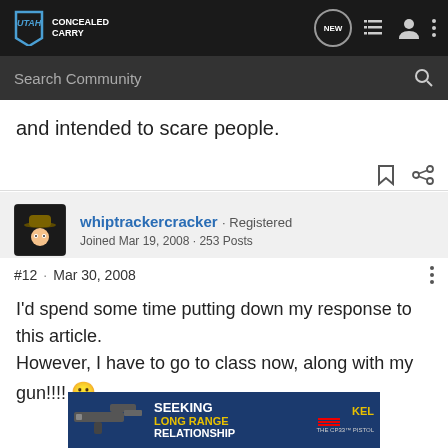Utah Concealed Carry - Navigation bar with Search Community
and intended to scare people.
whiptrackercracker · Registered
Joined Mar 19, 2008 · 253 Posts
#12 · Mar 30, 2008
I'd spend some time putting down my response to this article. However, I have to go to class now, along with my gun!!!!
[Figure (screenshot): Advertisement banner for Kel-Tec CP33 pistol with text SEEKING LONG RANGE RELATIONSHIP]